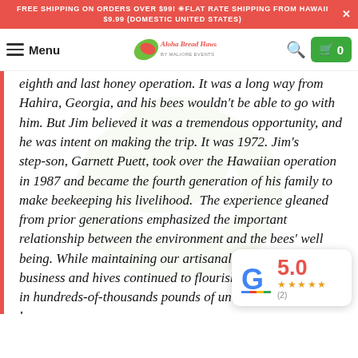FREE SHIPPING ON ORDERS OVER $99! ✳FLAT RATE SHIPPING FROM HAWAII $9.99 (DOMESTIC UNITED STATES) ×
Menu | Aloha Bevel Hawaii by Maliore Events | 🔍 | 🛒 0
eighth and last honey operation. It was a long way from Hahira, Georgia, and his bees wouldn't be able to go with him. But Jim believed it was a tremendous opportunity, and he was intent on making the trip. It was 1972. Jim's step-son, Garnett Puett, took over the Hawaiian operation in 1987 and became the fourth generation of his family to make beekeeping his livelihood.  The experience gleaned from prior generations emphasized the important relationship between the environment and the bees' well being. While maintaining our artisanal standards, the business and hives continued to flourish and grow, resulting in hundreds-of-thousands pounds of uniquely Hawaiian honey.
[Figure (infographic): Google review badge showing 5.0 rating with 5 stars and (2) reviews]